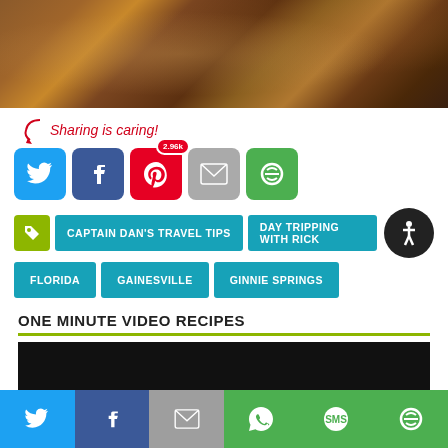[Figure (photo): Close-up photo of grilled/BBQ meat with charred surfaces]
Sharing is caring!
[Figure (infographic): Social sharing buttons: Twitter, Facebook (blue), Pinterest (red, 2.96k badge), Email (gray), Share (green)]
CAPTAIN DAN'S TRAVEL TIPS
DAY TRIPPING WITH RICK
FLORIDA
GAINESVILLE
GINNIE SPRINGS
ONE MINUTE VIDEO RECIPES
[Figure (screenshot): Black video player area]
[Figure (infographic): Bottom mobile share bar with Twitter, Facebook, Email, WhatsApp, SMS, Share icons]